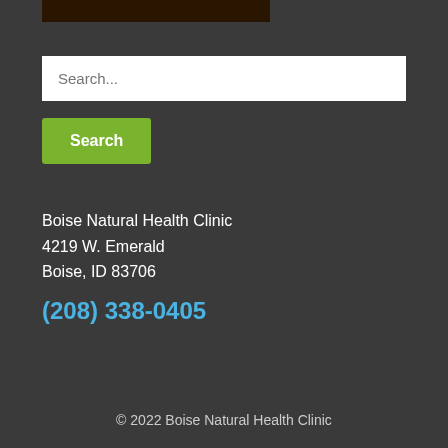[Figure (photo): Dark brown/black image strip at top of page, partial view of a clinic or nature image]
Search...
Search
Boise Natural Health Clinic
4219 W. Emerald
Boise, ID 83706
(208) 338-0405
© 2022 Boise Natural Health Clinic